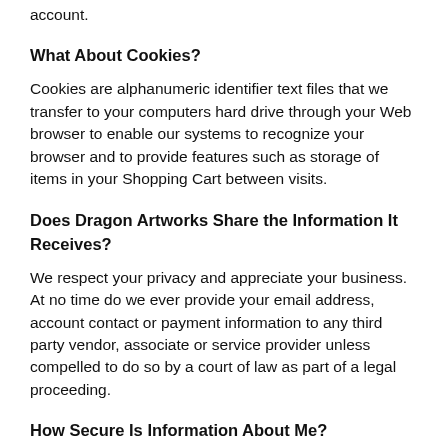account.
What About Cookies?
Cookies are alphanumeric identifier text files that we transfer to your computers hard drive through your Web browser to enable our systems to recognize your browser and to provide features such as storage of items in your Shopping Cart between visits.
Does Dragon Artworks Share the Information It Receives?
We respect your privacy and appreciate your business. At no time do we ever provide your email address, account contact or payment information to any third party vendor, associate or service provider unless compelled to do so by a court of law as part of a legal proceeding.
How Secure Is Information About Me?
We protect the security of your information during transmission by using Secure Sockets Layer (SSL) software, which encrypts information you provide to us when purchasing products, services or submitting any personal information on this Website. If required to confirm your order we will reveal only the last four digits of your